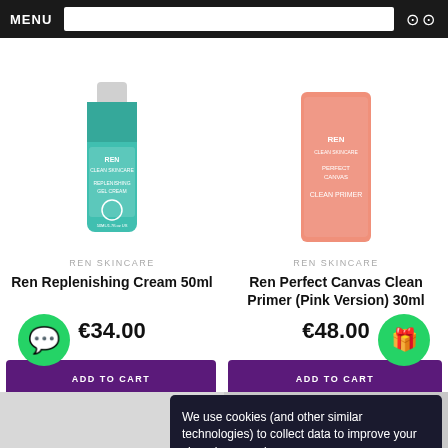MENU
[Figure (photo): REN Cleanmix Replenishing Gel Cream 50ml product bottle in teal/green packaging]
REN SKINCARE
Ren Replenishing Cream 50ml
€34.00
[Figure (photo): REN Perfect Canvas Clean Primer Pink Version 30ml product in peach/pink packaging]
REN SKINCARE
Ren Perfect Canvas Clean Primer (Pink Version) 30ml
€48.00
ADD TO CART
ADD TO CART
We use cookies (and other similar technologies) to collect data to improve your shopping experience.
Settings
Reject all
Accept All Cookies